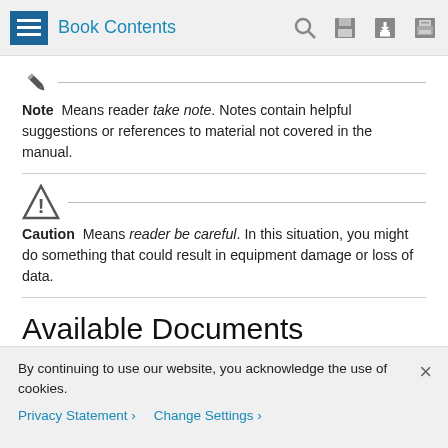Book Contents
Note  Means reader take note. Notes contain helpful suggestions or references to material not covered in the manual.
Caution  Means reader be careful. In this situation, you might do something that could result in equipment damage or loss of data.
Available Documents
This section lists the documents used with the Cisco Nexus
By continuing to use our website, you acknowledge the use of cookies.
Privacy Statement > Change Settings >